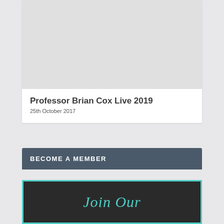[Figure (photo): Gray placeholder image for Professor Brian Cox Live 2019 event]
Professor Brian Cox Live 2019
25th October 2017
BECOME A MEMBER
[Figure (illustration): Dark background image with teal border and italic text 'Join Our' partially visible]